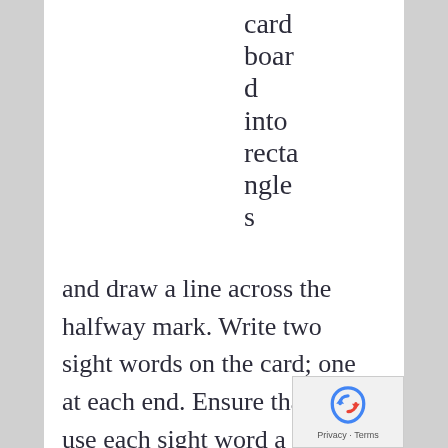cardboard into rectangles
and draw a line across the halfway mark. Write two sight words on the card; one at each end. Ensure that you use each sight word a couple of times. Get your child to start